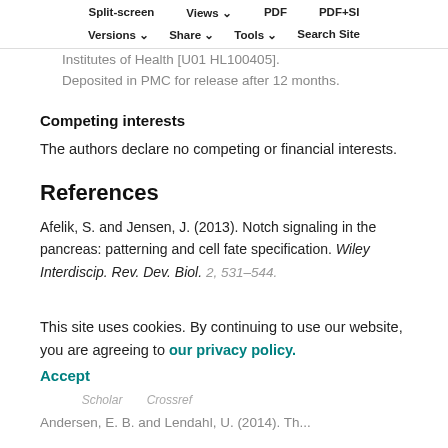Split-screen | Views | PDF | PDF+SI | Versions | Share | Tools | Search Site
Cardiovascular Research; the Cotswold Foundation; the WW Smith Endowed Chair; and the National Institutes of Health [U01 HL100405]. Deposited in PMC for release after 12 months.
Competing interests
The authors declare no competing or financial interests.
References
Afelik, S. and Jensen, J. (2013). Notch signaling in the pancreas: patterning and cell fate specification. Wiley Interdiscip. Rev. Dev. Biol. 2, 531-544.
This site uses cookies. By continuing to use our website, you are agreeing to our privacy policy. Accept
Andersen, E. B. and Lendahl, U. (2014). The...